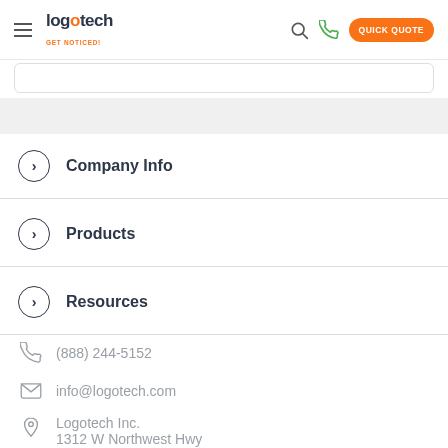Logotech - Get Noticed!
Company Info
Products
Resources
(888) 244-5152
info@logotech.com
Logotech Inc.
1312 W Northwest Hwy